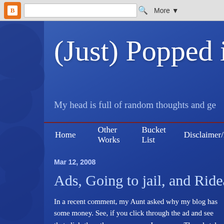Blogger navigation bar with search box and More button
(Just) Popped in
My head is full of random thoughts and ge
Home   Other Works   Bucket List   Disclaimer/Privacy
Mar 12, 2008
Ads, Going to jail, and Rideaway
In a recent comment, my Aunt asked why my blog has some money. See, if you click through the ad and see that click-thru, the more money I can earn. The ads tak don't know where the ads come from. Have I made an